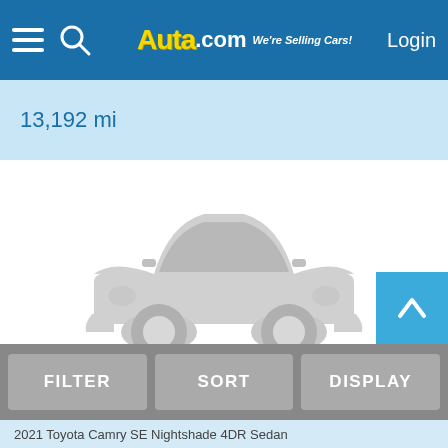AUTA.com We're Selling Cars! Login
13,192 mi
[Figure (illustration): Gray car silhouette placeholder image with text PHOTO NOT AVAILABLE below it]
PHOTO NOT AVAILABLE
FILTER   SORT   DISPLAY
2021 Toyota Camry SE Nightshade 4DR Sedan